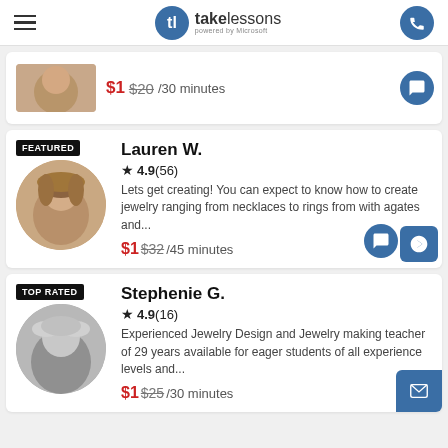takelessons powered by Microsoft
$1 $20/30 minutes
FEATURED
Lauren W.
★4.9(56)
Lets get creating! You can expect to know how to create jewelry ranging from necklaces to rings from with agates and...
$1 $32/45 minutes
TOP RATED
Stephenie G.
★4.9(16)
Experienced Jewelry Design and Jewelry making teacher of 29 years available for eager students of all experience levels and...
$1 $25/30 minutes